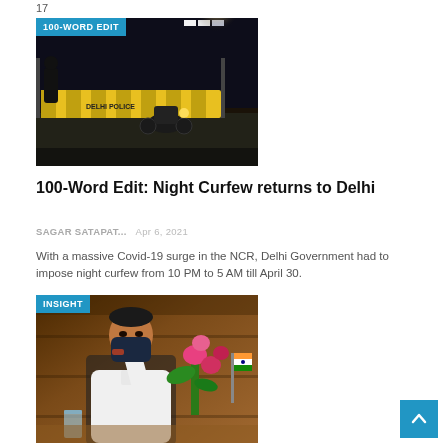17
[Figure (photo): Night scene at a Delhi Police barricade with motorcycle and bright lights, badge reading '100-WORD EDIT']
100-Word Edit: Night Curfew returns to Delhi
SAGAR SATAPAT...  Apr 6, 2021
With a massive Covid-19 surge in the NCR, Delhi Government had to impose night curfew from 10 PM to 5 AM till April 30.
[Figure (photo): Man in white kurta wearing black face mask, seated at desk with flowers and Indian flag, badge reading 'INSIGHT']